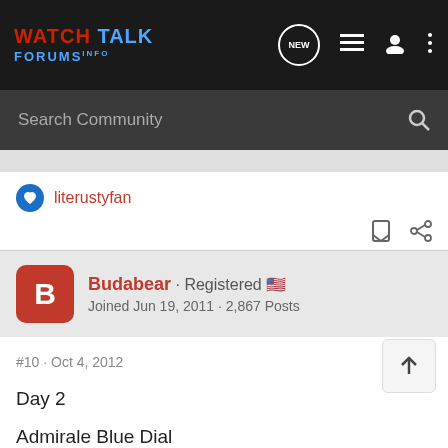WATCH TALK FORUMS.INFO
Search Community
literustyfan
Budabear · Registered
Joined Jun 19, 2011 · 2,867 Posts
#10 · Oct 4, 2012
Day 2
Admirale Blue Dial
[Figure (screenshot): Image placeholder showing 'Sorry.' text indicating image could not be loaded]